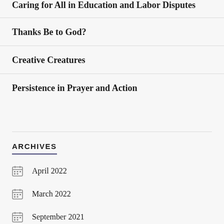Caring for All in Education and Labor Disputes
Thanks Be to God?
Creative Creatures
Persistence in Prayer and Action
ARCHIVES
April 2022
March 2022
September 2021